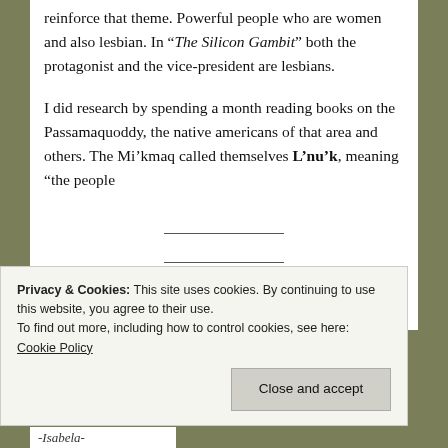reinforce that theme.  Powerful people who are women and also lesbian.  In “The Silicon Gambit” both the protagonist and the vice-president are lesbians.
I did research by spending a month reading books on the Passamaquoddy, the native americans of that area and others.   The Mi’kmaq called themselves L’nu’k, meaning “the people
Privacy & Cookies: This site uses cookies. By continuing to use this website, you agree to their use.
To find out more, including how to control cookies, see here: Cookie Policy
-Isabela-